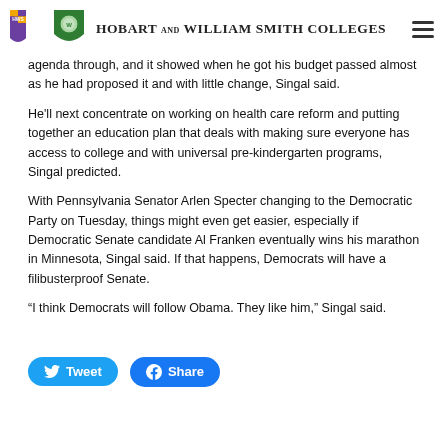HOBART AND WILLIAM SMITH COLLEGES
agenda through, and it showed when he got his budget passed almost as he had proposed it and with little change, Singal said.
He'll next concentrate on working on health care reform and putting together an education plan that deals with making sure everyone has access to college and with universal pre-kindergarten programs, Singal predicted.
With Pennsylvania Senator Arlen Specter changing to the Democratic Party on Tuesday, things might even get easier, especially if Democratic Senate candidate Al Franken eventually wins his marathon in Minnesota, Singal said. If that happens, Democrats will have a filibusterproof Senate.
“I think Democrats will follow Obama. They like him,” Singal said.